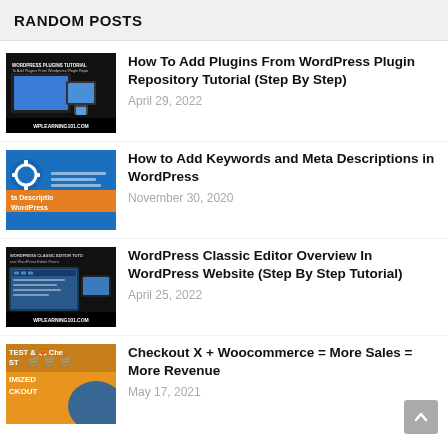RANDOM POSTS
[Figure (screenshot): Thumbnail for WordPress Plugins Tutorial post showing devices and WPLEARNING101.COM branding]
How To Add Plugins From WordPress Plugin Repository Tutorial (Step By Step)
April 29, 2022
[Figure (screenshot): Thumbnail for Meta Descriptions post with blue WordPress gear icon and orange banner text]
How to Add Keywords and Meta Descriptions in WordPress
November 30, 2020
[Figure (screenshot): Thumbnail for WordPress Classic Editor tutorial with WPLEARNING101.COM logo]
WordPress Classic Editor Overview In WordPress Website (Step By Step Tutorial)
April 25, 2022
[Figure (screenshot): Thumbnail for Checkout X Woocommerce post with shopping cart icons on orange background]
Checkout X + Woocommerce = More Sales = More Revenue
May 17, 2021